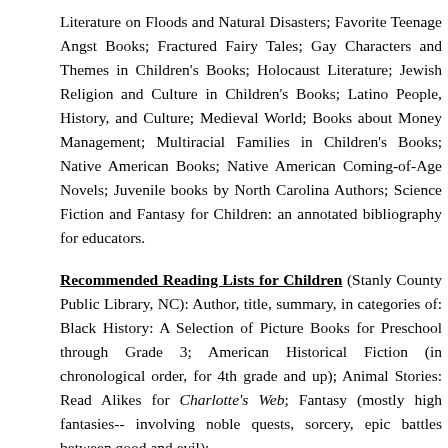Literature on Floods and Natural Disasters; Favorite Teenage Angst Books; Fractured Fairy Tales; Gay Characters and Themes in Children's Books; Holocaust Literature; Jewish Religion and Culture in Children's Books; Latino People, History, and Culture; Medieval World; Books about Money Management; Multiracial Families in Children's Books; Native American Books; Native American Coming-of-Age Novels; Juvenile books by North Carolina Authors; Science Fiction and Fantasy for Children: an annotated bibliography for educators.
Recommended Reading Lists for Children (Stanly County Public Library, NC): Author, title, summary, in categories of: Black History: A Selection of Picture Books for Preschool through Grade 3; American Historical Fiction (in chronological order, for 4th grade and up); Animal Stories: Read Alikes for Charlotte's Web; Fantasy (mostly high fantasies-- involving noble quests, sorcery, epic battles between good and evil);